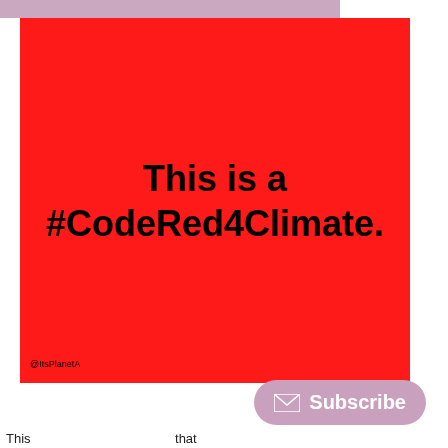[Figure (infographic): Red square graphic with bold black text reading 'This is a #CodeRed4Climate.' on a bright red background. A small '@ItsPlanetA' watermark appears at the bottom left of the red card. A lavender/mauve bar appears at the top of the image. A pink/mauve 'Subscribe' button with envelope icon is at the bottom right.]
This is a #CodeRed4Climate.
This                                                         that